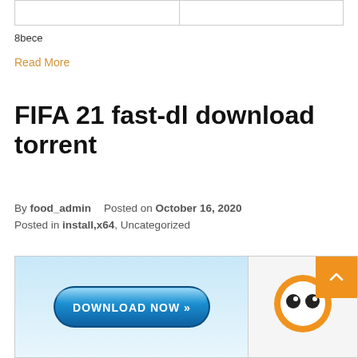|  |  |
| --- | --- |
|  |
8bece
Read More
FIFA 21 fast-dl download torrent
By food_admin   Posted on October 16, 2020
Posted in install,x64, Uncategorized
[Figure (screenshot): Download Now button image and Avast logo icon, partially visible at bottom of page]